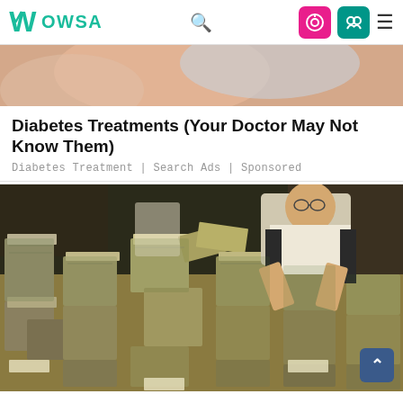Wowsa — navigation header with logo, search, and icons
[Figure (photo): Partial top image — appears to show a hand or skin close-up in peach/pink tones, cropped at top of page]
Diabetes Treatments (Your Doctor May Not Know Them)
Diabetes Treatment | Search Ads | Sponsored
[Figure (photo): Man in glasses and white shirt sorting large stacks of US dollar bills piled on a table]